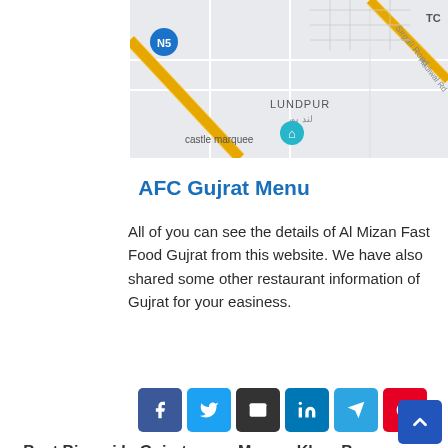[Figure (map): Google map showing road layout near Lundpur area with N5 highway marker, castle marquee label, and roads including Sirgali Road and Hadiwal Rd]
AFC Gujrat Menu
All of you can see the details of Al Mizan Fast Food Gujrat from this website. We have also shared some other restaurant information of Gujrat for your easiness.
[Figure (infographic): Social share buttons: Facebook, Twitter, Email, LinkedIn, Telegram, Pinterest]
« Best Biryani In Gujrat   Mamay Khan Burger Wazirabad »